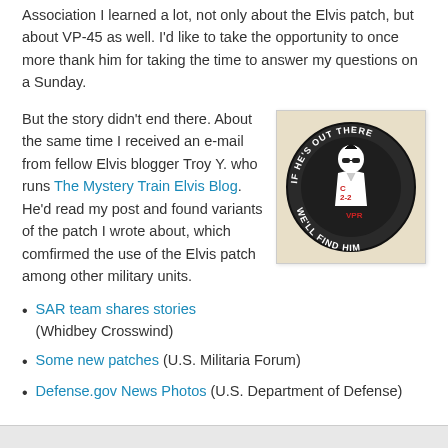Association I learned a lot, not only about the Elvis patch, but about VP-45 as well. I'd like to take the opportunity to once more thank him for taking the time to answer my questions on a Sunday.
But the story didn't end there. About the same time I received an e-mail from fellow Elvis blogger Troy Y. who runs The Mystery Train Elvis Blog. He'd read my post and found variants of the patch I wrote about, which comfirmed the use of the Elvis patch among other military units.
[Figure (photo): A circular military patch on a beige background. The patch reads 'IF HE'S OUT THERE' on the top arc and 'WE'LL FIND HIM' on the bottom arc. The center shows a silhouette of Elvis Presley wearing sunglasses, with text 'C-2-2' and 'VPR' in red.]
SAR team shares stories (Whidbey Crosswind)
Some new patches (U.S. Militaria Forum)
Defense.gov News Photos (U.S. Department of Defense)